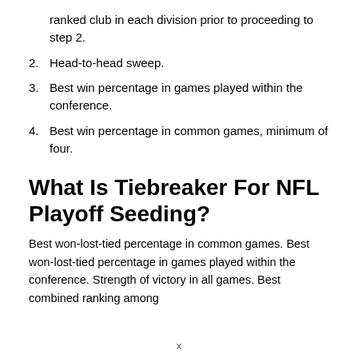ranked club in each division prior to proceeding to step 2.
2. Head-to-head sweep.
3. Best win percentage in games played within the conference.
4. Best win percentage in common games, minimum of four.
What Is Tiebreaker For NFL Playoff Seeding?
Best won-lost-tied percentage in common games. Best won-lost-tied percentage in games played within the conference. Strength of victory in all games. Best combined ranking among